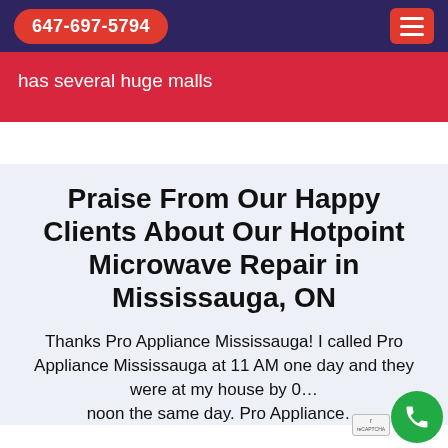647-697-5794
has several huge malls
Praise From Our Happy Clients About Our Hotpoint Microwave Repair in Mississauga, ON
Thanks Pro Appliance Mississauga! I called Pro Appliance Mississauga at 11 AM one day and they were at my house by 0... noon the same day. Pro Appliance...